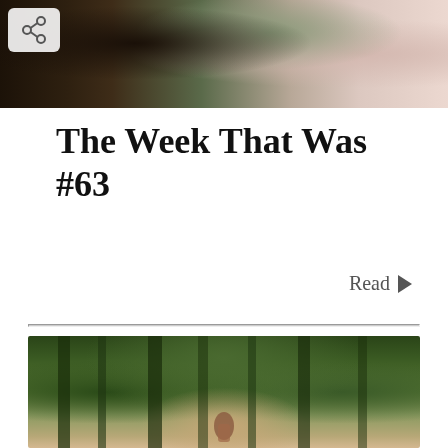[Figure (photo): Top portion of a photo showing two people, one in dark clothing and one with light/pink hair, outdoors in a natural setting. A share button icon is overlaid on the top-left corner.]
The Week That Was #63
Read ▶
[Figure (photo): A person with red/auburn hair in a braid walks through a lush green forest with tall trees covered in moss and ferns. A scroll-to-top button is overlaid on the upper-right corner.]